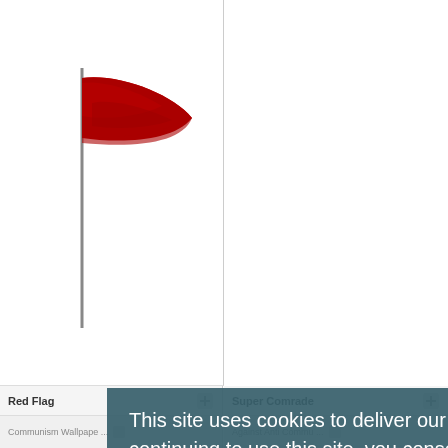[Figure (illustration): Red flag waving on a pole, clipart style]
[Figure (logo): Superman-style shield logo in red with hammer and sickle symbol inside]
Red Flag
Super Comrade
Communism Wallpape ...
Against Anti Commu ...
This site uses cookies to deliver our services and to ensure you get the best experience. By continuing to use this site, you consent to our use of cookies and acknowledge that you have read and understand our
Privacy Policy, Cookie Policy, and Terms
Accept